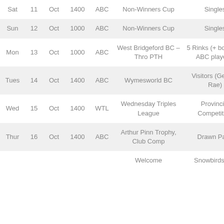| Day | Date | Month | Time | Code | Event | Format | Extra |
| --- | --- | --- | --- | --- | --- | --- | --- |
| Fri | 10 | Oct | 1000 | ABC | Non-Winners Cup | Singles | K/… |
| Sat | 11 | Oct | 1400 | ABC | Non-Winners Cup | Singles | K/… |
| Sun | 12 | Oct | 1000 | ABC | Non-Winners Cup | Singles | K/… |
| Mon | 13 | Oct | 1000 | ABC | West Bridgeford BC – Thro PTH | 5 Rinks (+ borrow 2 ABC players) | Frien… |
| Tues | 14 | Oct | 1400 | ABC | Wymesworld BC | Visitors (George Rae) | Frien… |
| Wed | 15 | Oct | 1400 | WTL | Wednesday Triples League | Provincial Competition | Leag… |
| Thur | 16 | Oct | 1400 | ABC | Arthur Pinn Trophy, Club Comp | Drawn Pairs | K/… |
|  |  |  |  |  | Welcome | Snowbirds v… |  |